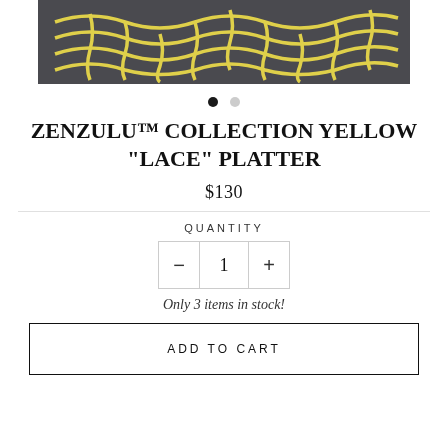[Figure (photo): Product image of yellow lace pattern on dark gray background, partially cropped at top]
• •
ZENZULU™ COLLECTION YELLOW "LACE" PLATTER
$130
QUANTITY
− 1 +
Only 3 items in stock!
ADD TO CART